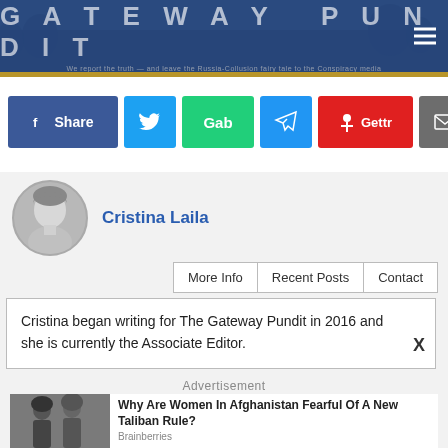GATEWAY PUNDIT — We report the truth — and leave the Russia-Collusion fairy tale to the Conspiracy media
[Figure (infographic): Social share buttons: Facebook Share, Twitter, Gab, Telegram, Gettr, Email, Share]
[Figure (photo): Circular avatar photo of Cristina Laila, black and white]
Cristina Laila
More Info | Recent Posts | Contact
Cristina began writing for The Gateway Pundit in 2016 and she is currently the Associate Editor.
Advertisement
Why Are Women In Afghanistan Fearful Of A New Taliban Rule?
Brainberries